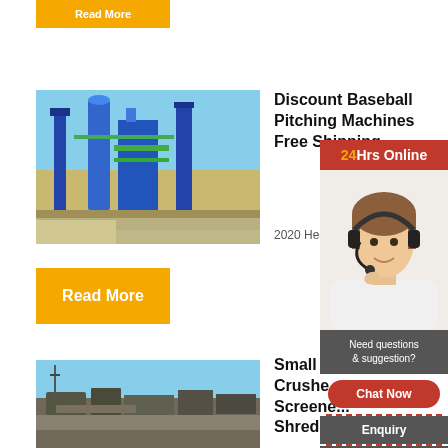[Figure (photo): Partially visible yellow Read More button at top]
[Figure (photo): Industrial mining/processing plant with blue steel structures, conveyor systems, silos under blue sky]
Discount Baseball Pitching Machines Free Shipping
2020 Heate...
[Figure (infographic): Sidebar widget: 24Hrs Online banner, customer service agent with headset, Need questions & suggestion?, Chat Now button, Enquiry link, limingjlmofen link]
Read More
[Figure (photo): Industrial machinery/equipment yard with metal structures against sky]
Small P... Crushe... Screene... Shredd...